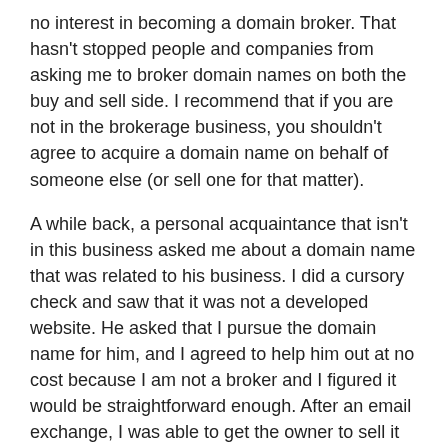no interest in becoming a domain broker. That hasn't stopped people and companies from asking me to broker domain names on both the buy and sell side. I recommend that if you are not in the brokerage business, you shouldn't agree to acquire a domain name on behalf of someone else (or sell one for that matter).
A while back, a personal acquaintance that isn't in this business asked me about a domain name that was related to his business. I did a cursory check and saw that it was not a developed website. He asked that I pursue the domain name for him, and I agreed to help him out at no cost because I am not a broker and I figured it would be straightforward enough. After an email exchange, I was able to get the owner to sell it for an agreeable price. Unfortunately, the buyer decided against making the purchase, and that left me in an unfortunate position.
As someone who buys domain names as part of my business, I am often asked for advice about domain names. When the